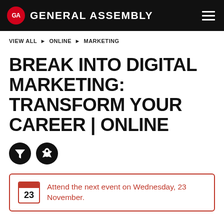GA GENERAL ASSEMBLY
VIEW ALL ▶ ONLINE ▶ MARKETING
BREAK INTO DIGITAL MARKETING: TRANSFORM YOUR CAREER | ONLINE
[Figure (illustration): Two circular black icons: a funnel/filter icon and a rocket icon]
Attend the next event on Wednesday, 23 November.